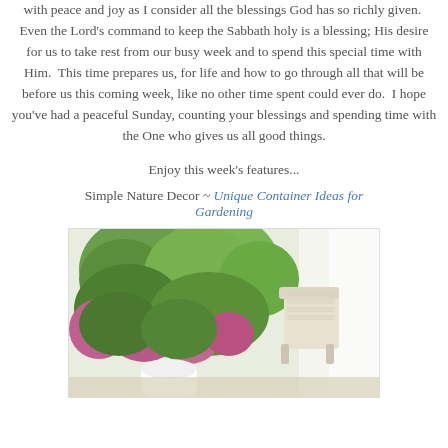with peace and joy as I consider all the blessings God has so richly given. Even the Lord's command to keep the Sabbath holy is a blessing; His desire for us to take rest from our busy week and to spend this special time with Him. This time prepares us, for life and how to go through all that will be before us this coming week, like no other time spent could ever do. I hope you've had a peaceful Sunday, counting your blessings and spending time with the One who gives us all good things.
Enjoy this week's features...
Simple Nature Decor ~ Unique Container Ideas for Gardening
[Figure (photo): Outdoor garden scene with green shrubs, pink/red flowering plants, white furniture (chair), and bright natural light. A white cup or mug is visible in the lower portion.]